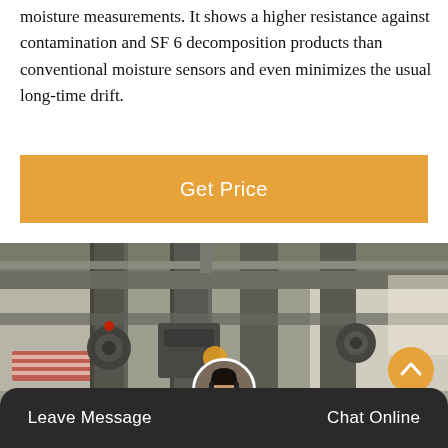moisture measurements. It shows a higher resistance against contamination and SF 6 decomposition products than conventional moisture sensors and even minimizes the usual long-time drift.
[Figure (other): Orange button / call-to-action: Get Price]
[Figure (photo): Industrial electrical equipment room with large grey metal columns, machinery components, and structural supports inside a building.]
Leave Message  |  Chat Online